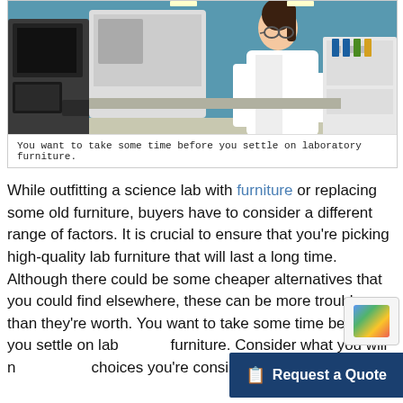[Figure (photo): A female scientist in a white lab coat and safety glasses working at a laboratory computer/analyzer workstation in a modern lab with blue walls and white cabinetry.]
You want to take some time before you settle on laboratory furniture.
While outfitting a science lab with furniture or replacing some old furniture, buyers have to consider a different range of factors. It is crucial to ensure that you're picking high-quality lab furniture that will last a long time. Although there could be some cheaper alternatives that you could find elsewhere, these can be more trouble than they're worth. You want to take some time before you settle on laboratory furniture. Consider what you will n... choices you're considering will wor...